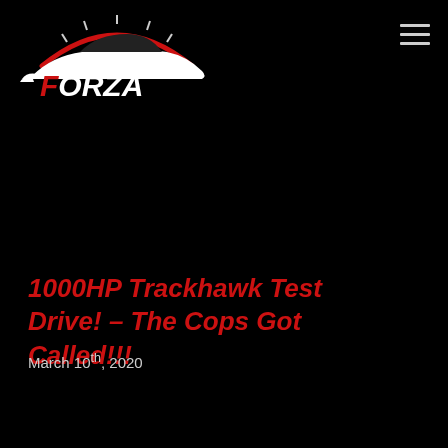[Figure (logo): Forza automotive logo: white stylized car silhouette with red arc above, bold italic white text FORZA with red F letter]
1000HP Trackhawk Test Drive! – The Cops Got Called!!!
March 10th, 2020